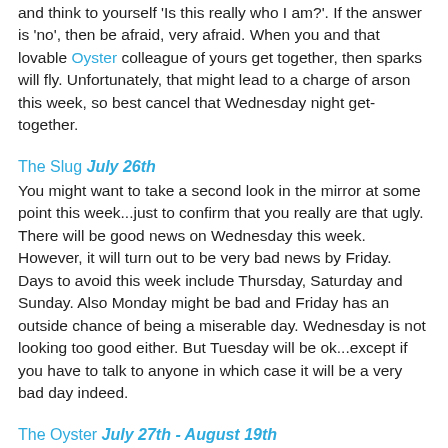and think to yourself 'Is this really who I am?'. If the answer is 'no', then be afraid, very afraid. When you and that lovable Oyster colleague of yours get together, then sparks will fly. Unfortunately, that might lead to a charge of arson this week, so best cancel that Wednesday night get-together.
The Slug July 26th
You might want to take a second look in the mirror at some point this week...just to confirm that you really are that ugly. There will be good news on Wednesday this week. However, it will turn out to be very bad news by Friday. Days to avoid this week include Thursday, Saturday and Sunday. Also Monday might be bad and Friday has an outside chance of being a miserable day. Wednesday is not looking too good either. But Tuesday will be ok...except if you have to talk to anyone in which case it will be a very bad day indeed.
The Oyster July 27th - August 19th
A cucumber, a pneumatic drill, and a skateboard. Two of these three items will not give you a major headache this week. Dietary choices may be important this week. Consider avoiding foods that are green or yellow in color. Ever hear their joke about the Oyster and the Snail...leading down to